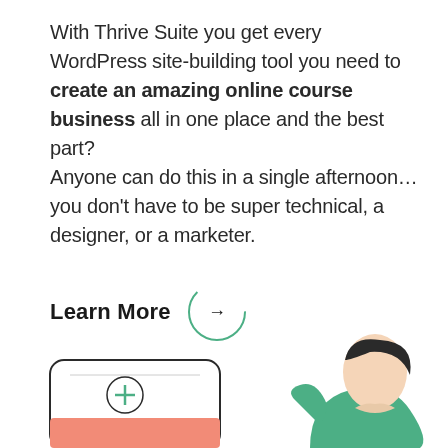With Thrive Suite you get every WordPress site-building tool you need to create an amazing online course business all in one place and the best part? Anyone can do this in a single afternoon… you don't have to be super technical, a designer, or a marketer.
Learn More →
[Figure (illustration): Partial illustration at the bottom of the page showing what appears to be a UI card/screen element on the left and a person (illustrated character) on the right, both cropped at the page edge.]